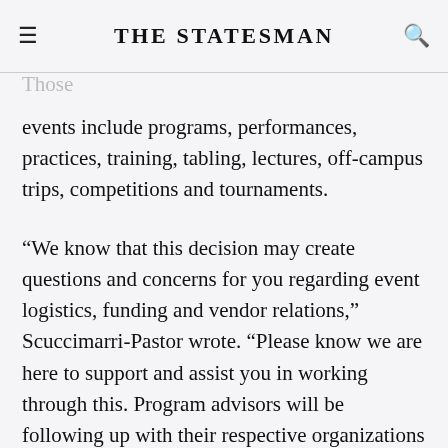The Statesman
associate director, the Department of Student Engagement and Activities, wrote in the email. Those events include programs, performances, practices, training, tabling, lectures, off-campus trips, competitions and tournaments.
“We know that this decision may create questions and concerns for you regarding event logistics, funding and vendor relations,” Scuccimarri-Pastor wrote. “Please know we are here to support and assist you in working through this. Program advisors will be following up with their respective organizations individually to provide further support and answer organization specific questions.”
She suggested that clubs meet online instead and continue to keep in touch via social media or other